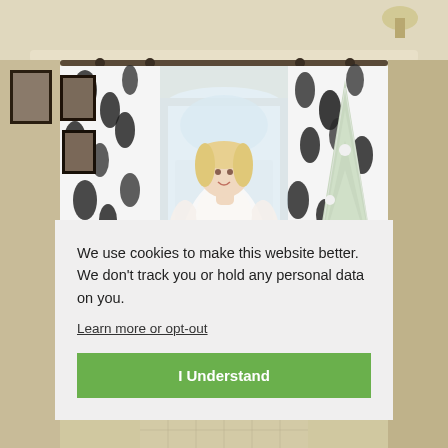[Figure (photo): A bride in a white lace wedding dress holding a bouquet, standing in a hallway with black and white floral curtains, framed photos on the wall to the left, a snow-flocked Christmas tree to the right, and a plant in the corner.]
We use cookies to make this website better. We don't track you or hold any personal data on you.
Learn more or opt-out
I Understand